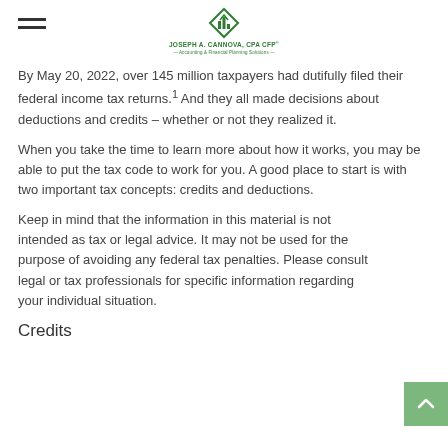Joseph A. Cannova, CPA CFP — Accounting & Financial Planning Solutions
By May 20, 2022, over 145 million taxpayers had dutifully filed their federal income tax returns.¹ And they all made decisions about deductions and credits – whether or not they realized it.
When you take the time to learn more about how it works, you may be able to put the tax code to work for you. A good place to start is with two important tax concepts: credits and deductions.
Keep in mind that the information in this material is not intended as tax or legal advice. It may not be used for the purpose of avoiding any federal tax penalties. Please consult legal or tax professionals for specific information regarding your individual situation.
Credits